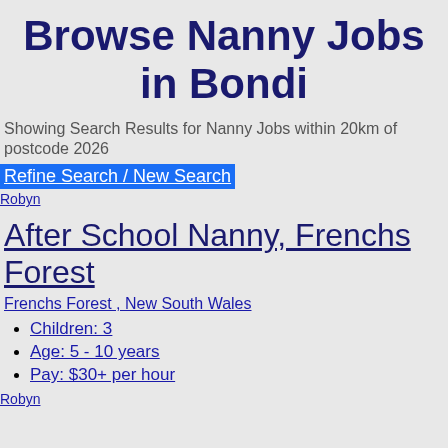Browse Nanny Jobs in Bondi
Showing Search Results for Nanny Jobs within 20km of postcode 2026
Refine Search / New Search
[Figure (other): Robyn profile image thumbnail]
After School Nanny, Frenchs Forest
Frenchs Forest , New South Wales
Children: 3
Age: 5 - 10 years
Pay: $30+ per hour
[Figure (other): Robyn profile image thumbnail]